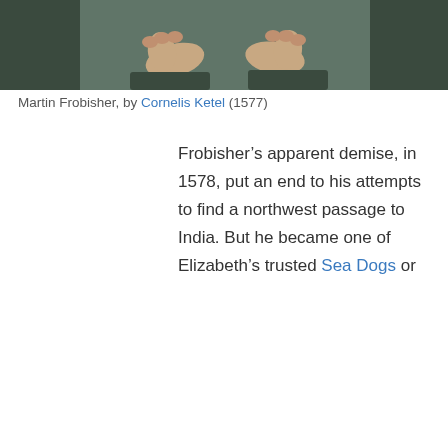[Figure (photo): Partial view of a painting showing the lower portion of a figure — feet and legs visible against a dark greenish background. This is the bottom cropped portion of a portrait of Martin Frobisher by Cornelis Ketel (1577).]
Martin Frobisher, by Cornelis Ketel (1577)
Frobisher’s apparent demise, in 1578, put an end to his attempts to find a northwest passage to India. But he became one of Elizabeth’s trusted Sea Dogs or